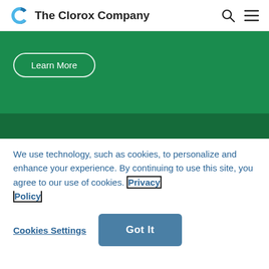The Clorox Company
[Figure (screenshot): Green banner section with a 'Learn More' button outlined in white on a green background]
We use technology, such as cookies, to personalize and enhance your experience. By continuing to use this site, you agree to our use of cookies. Privacy Policy
Cookies Settings | Got It